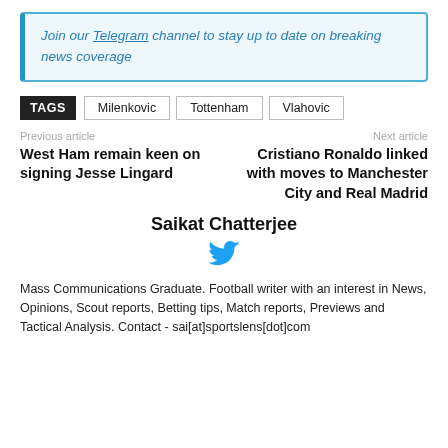Join our Telegram channel to stay up to date on breaking news coverage
TAGS  Milenkovic  Tottenham  Vlahovic
Previous article
West Ham remain keen on signing Jesse Lingard
Next article
Cristiano Ronaldo linked with moves to Manchester City and Real Madrid
Saikat Chatterjee
[Figure (logo): Twitter bird logo icon in blue]
Mass Communications Graduate. Football writer with an interest in News, Opinions, Scout reports, Betting tips, Match reports, Previews and Tactical Analysis. Contact - sai[at]sportslens[dot]com